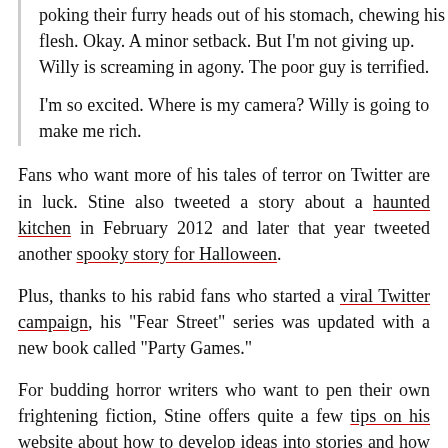poking their furry heads out of his stomach, chewing his flesh. Okay. A minor setback. But I'm not giving up. Willy is screaming in agony. The poor guy is terrified.

I'm so excited. Where is my camera? Willy is going to make me rich.
Fans who want more of his tales of terror on Twitter are in luck. Stine also tweeted a story about a haunted kitchen in February 2012 and later that year tweeted another spooky story for Halloween.
Plus, thanks to his rabid fans who started a viral Twitter campaign, his "Fear Street" series was updated with a new book called "Party Games."
For budding horror writers who want to pen their own frightening fiction, Stine offers quite a few tips on his website about how to develop ideas into stories and how to conquer writer's block.